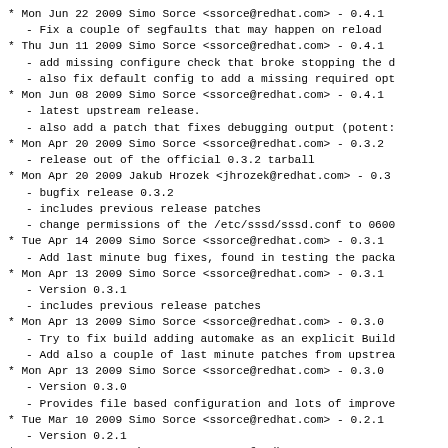Mon Jun 22 2009 Simo Sorce <ssorce@redhat.com> - 0.4.1
  - Fix a couple of segfaults that may happen on reload
Thu Jun 11 2009 Simo Sorce <ssorce@redhat.com> - 0.4.1
  - add missing configure check that broke stopping the d
  - also fix default config to add a missing required opt
Mon Jun 08 2009 Simo Sorce <ssorce@redhat.com> - 0.4.1
  - latest upstream release.
  - also add a patch that fixes debugging output (potent:
Mon Apr 20 2009 Simo Sorce <ssorce@redhat.com> - 0.3.2
  - release out of the official 0.3.2 tarball
Mon Apr 20 2009 Jakub Hrozek <jhrozek@redhat.com> - 0.3
  - bugfix release 0.3.2
  - includes previous release patches
  - change permissions of the /etc/sssd/sssd.conf to 0600
Tue Apr 14 2009 Simo Sorce <ssorce@redhat.com> - 0.3.1
  - Add last minute bug fixes, found in testing the packa
Mon Apr 13 2009 Simo Sorce <ssorce@redhat.com> - 0.3.1
  - Version 0.3.1
  - includes previous release patches
Mon Apr 13 2009 Simo Sorce <ssorce@redhat.com> - 0.3.0
  - Try to fix build adding automake as an explicit Build
  - Add also a couple of last minute patches from upstrea
Mon Apr 13 2009 Simo Sorce <ssorce@redhat.com> - 0.3.0
  - Version 0.3.0
  - Provides file based configuration and lots of improve
Tue Mar 10 2009 Simo Sorce <ssorce@redhat.com> - 0.2.1
  - Version 0.2.1
Tue Mar 10 2009 Simo Sorce <ssorce@redhat.com> - 0.2.0
  - Version 0.2.0
Sun Mar 08 2009 Jakub Hrozek <jhrozek@redhat.com> - 0.1